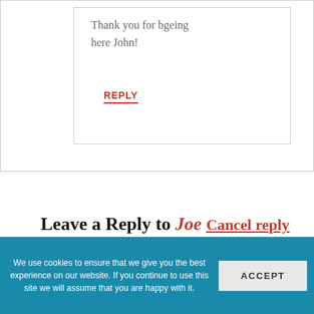Thank you for bgeing here John!
REPLY
Leave a Reply to Joe Cancel reply
Your email address will not be published.
Required fields are marked *
We use cookies to ensure that we give you the best experience on our website. If you continue to use this site we will assume that you are happy with it.